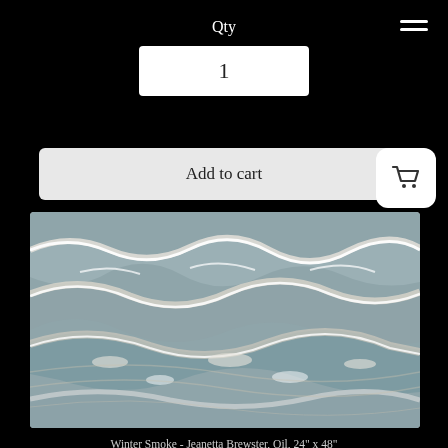Qty
1
Add to cart
[Figure (photo): Oil painting of ocean waves titled 'Winter Smoke' by Jeanetta Brewster, showing rolling sea waves with white foam and blue-grey tones, 24" x 48"]
Winter Smoke - Jeanetta Brewster, Oil, 24" x 48"
$895.00